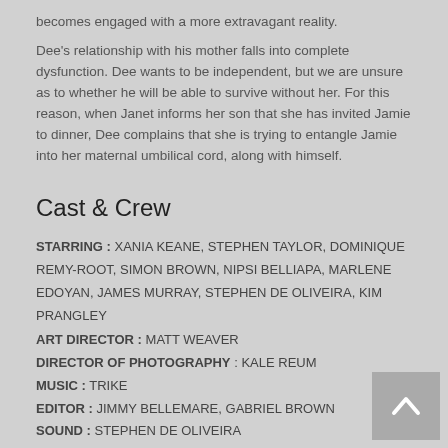becomes engaged with a more extravagant reality.
Dee's relationship with his mother falls into complete dysfunction. Dee wants to be independent, but we are unsure as to whether he will be able to survive without her. For this reason, when Janet informs her son that she has invited Jamie to dinner, Dee complains that she is trying to entangle Jamie into her maternal umbilical cord, along with himself.
Cast & Crew
STARRING : XANIA KEANE, STEPHEN TAYLOR, DOMINIQUE REMY-ROOT, SIMON BROWN, NIPSI BELLIAPA, MARLENE EDOYAN, JAMES MURRAY, STEPHEN DE OLIVEIRA, KIM PRANGLEY
ART DIRECTOR : MATT WEAVER
DIRECTOR OF PHOTOGRAPHY : KALE REUM
MUSIC : TRIKE
EDITOR : JIMMY BELLEMARE, GABRIEL BROWN
SOUND : STEPHEN DE OLIVEIRA
SCREENPLAY : ROBERT MURRAY